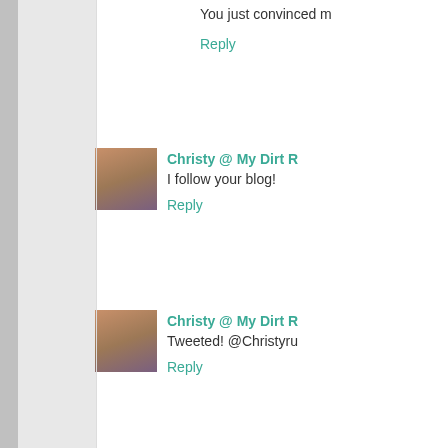You just convinced m
Reply
Christy @ My Dirt R
I follow your blog!
Reply
Christy @ My Dirt R
Tweeted! @Christyru
Reply
Christy @ My Dirt R
posted on my facebo
Reply
Nicole  28 Septembe
I follow you on faceb
Reply